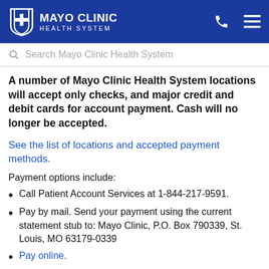MAYO CLINIC HEALTH SYSTEM
Search Mayo Clinic Health System
A number of Mayo Clinic Health System locations will accept only checks, and major credit and debit cards for account payment. Cash will no longer be accepted.
See the list of locations and accepted payment methods.
Payment options include:
Call Patient Account Services at 1-844-217-9591.
Pay by mail. Send your payment using the current statement stub to: Mayo Clinic, P.O. Box 790339, St. Louis, MO 63179-0339
Pay online.